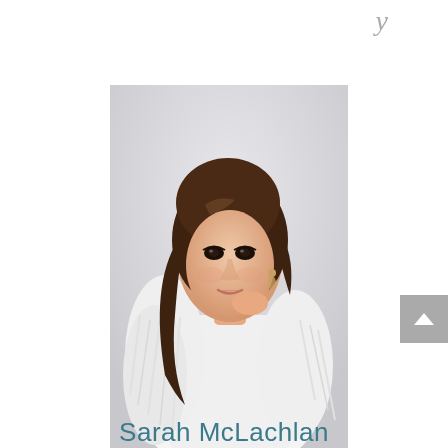[Figure (photo): Portrait photo of Sarah McLachlan wearing a white fluffy/feathered coat, with dark wavy hair, dangling earrings, against a light gray background]
Sarah McLachlan